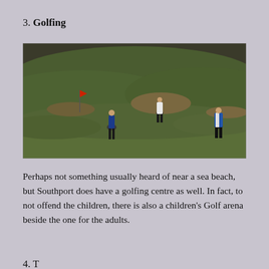3. Golfing
[Figure (photo): Photograph of a golf course with three golfers on hilly green grass. One golfer in blue on the left, one in white in the center background, and one in blue and white on the right. A red flag is visible on the left side of the course.]
Perhaps not something usually heard of near a sea beach, but Southport does have a golfing centre as well. In fact, to not offend the children, there is also a children's Golf arena beside the one for the adults.
4. T…